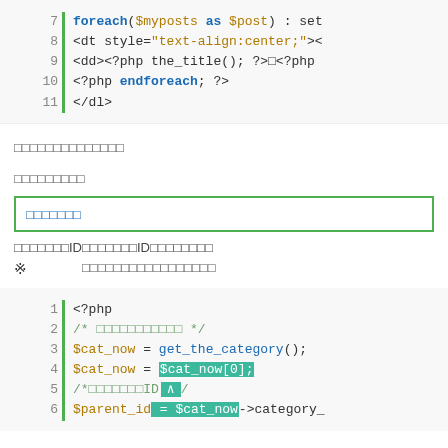[Figure (screenshot): Code block showing PHP foreach loop with HTML dl/dt/dd elements, lines 7-11]
□□□□□□□□□□□□□□
□□□□□□□□□
□□□□□□□ (search box UI element)
□□□□□□□ID□□□□□□□ID□□□□□□□□
※　　　□□□□□□□□□□□□□□□□□
[Figure (screenshot): Code block showing PHP lines 1-6: get_the_category(), $cat_now assignment, parent_id retrieval]